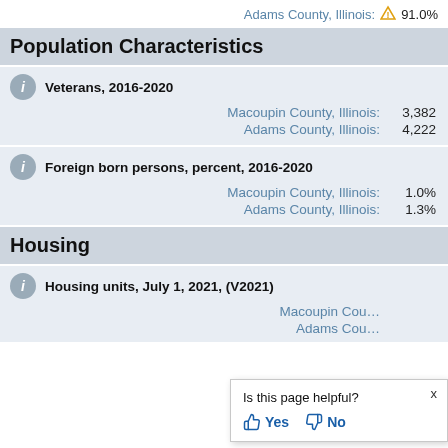Adams County, Illinois: 91.0%
Population Characteristics
Veterans, 2016-2020
Macoupin County, Illinois: 3,382
Adams County, Illinois: 4,222
Foreign born persons, percent, 2016-2020
Macoupin County, Illinois: 1.0%
Adams County, Illinois: 1.3%
Housing
Housing units, July 1, 2021, (V2021)
Macoupin County, Illinois:
Adams County, Illinois:
[Figure (screenshot): Popup overlay asking 'Is this page helpful?' with Yes and No thumbs-up/down buttons and an X close button]